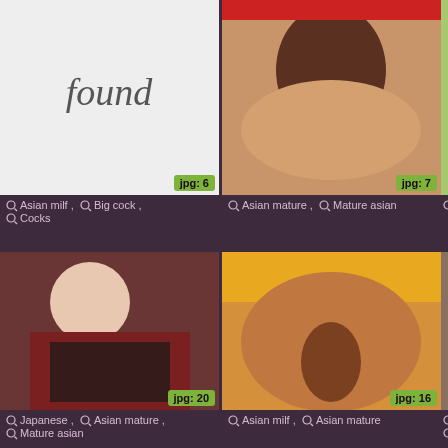[Figure (photo): Image placeholder with italic 'found' text on light gray background, jpg badge showing 6]
Asian milf , Big cock , Cocks
[Figure (photo): Close-up photo, jpg badge showing 7]
Asian mature , Mature asian
[Figure (photo): Partially visible photo on right edge]
Mat...
[Figure (photo): Photo of Asian woman, jpg badge showing 20]
Japanese , Asian mature , Mature asian
[Figure (photo): Close-up photo with orange background, jpg badge showing 16]
Asian milf , Asian mature
[Figure (photo): Partially visible photo on right edge]
Mat... Chu...